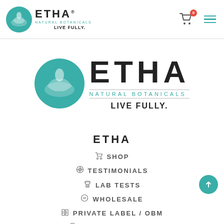[Figure (logo): ETHA Natural Botanicals logo in top navigation bar — teal circle with hand/leaf icon, ETHA text, NATURAL BOTANICALS, LIVE FULLY.]
[Figure (logo): Large ETHA Natural Botanicals logo — large teal circle icon, large ETHA lettering, NATURAL BOTANICALS subtitle, LIVE FULLY. tagline]
ETHA
SHOP
TESTIMONIALS
LAB TESTS
WHOLESALE
PRIVATE LABEL / OBM
MEDIA AND PRESS